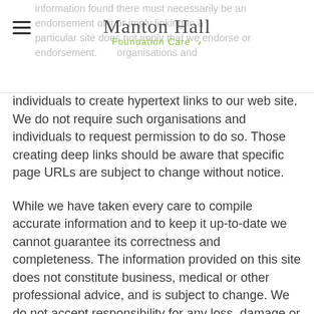Manton Hall Foundation Care
individuals to create hypertext links to our web site. We do not require such organisations and individuals to request permission to do so. Those creating deep links should be aware that specific page URLs are subject to change without notice.
While we have taken every care to compile accurate information and to keep it up-to-date we cannot guarantee its correctness and completeness. The information provided on this site does not constitute business, medical or other professional advice, and is subject to change. We do not accept responsibility for any loss, damage or expense resulting from the use of this information.
We cannot guarantee uninterrupted access to this web site, or the sites to which it links. We accept no responsibility for any damages arising